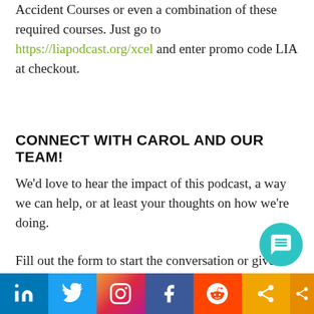Accident Courses or even a combination of these required courses. Just go to https://liapodcast.org/xcel and enter promo code LIA at checkout.
CONNECT WITH CAROL AND OUR TEAM!
We'd love to hear the impact of this podcast, a way we can help, or at least your thoughts on how we're doing.
Fill out the form to start the conversation or give feedback on this episode:
[Figure (other): Social media share bar at the bottom with LinkedIn, Twitter, Instagram, Facebook, Reddit, and share icons]